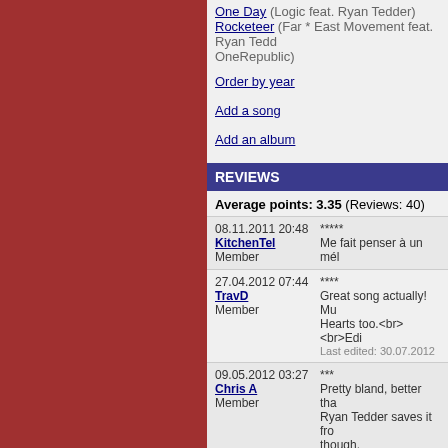One Day (Logic feat. Ryan Tedder) Rocketeer (Far * East Movement feat. Ryan Tedder, OneRepublic)
Order by year
Add a song
Add an album
REVIEWS
Average points: 3.35 (Reviews: 40)
08.11.2011 20:48 KitchenTel Member ***** Me fait penser à un mél
27.04.2012 07:44 TravD Member **** Great song actually! Mu Hearts too. Last edited: 30.07.2012
09.05.2012 03:27 Chris A Member *** Pretty bland, better than Ryan Tedder saves it from though.
19.05.2012 06:25 Hijinx Member *** Meh, meh, meh, meh, m
19.05.2012 08:08 KingBandicoot Member *** Okay.
20.05.2012 06:19 irelander Member ** Like 'Ass Back Home', n sadly Gym Class Heroe